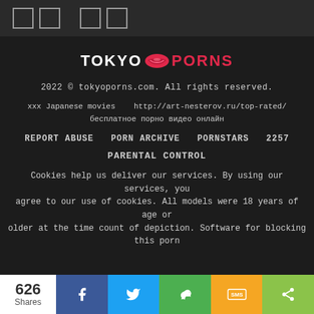□□   □□
[Figure (logo): TOKYO lips-icon PORNS logo in white and red]
2022 © tokyoporns.com. All rights reserved.
xxx Japanese movies   http://art-nesterov.ru/top-rated/ бесплатное порно видео онлайн
REPORT ABUSE   PORN ARCHIVE   PORNSTARS   2257
PARENTAL CONTROL
Cookies help us deliver our services. By using our services, you agree to our use of cookies. All models were 18 years of age or older at the time count of depiction. Software for blocking this porn
626 Shares  [Facebook] [Twitter] [WeChat] [SMS] [Share]